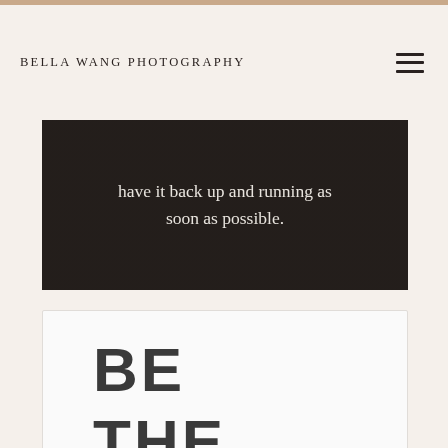BELLA WANG PHOTOGRAPHY
[Figure (photo): Dark overlay photo with white text reading 'have it back up and running as soon as possible.']
have it back up and running as soon as possible.
BE
THE